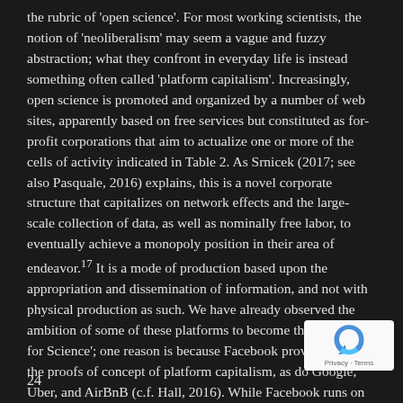the rubric of 'open science'. For most working scientists, the notion of 'neoliberalism' may seem a vague and fuzzy abstraction; what they confront in everyday life is instead something often called 'platform capitalism'. Increasingly, open science is promoted and organized by a number of web sites, apparently based on free services but constituted as for-profit corporations that aim to actualize one or more of the cells of activity indicated in Table 2. As Srnicek (2017; see also Pasquale, 2016) explains, this is a novel corporate structure that capitalizes on network effects and the large-scale collection of data, as well as nominally free labor, to eventually achieve a monopoly position in their area of endeavor.17 It is a mode of production based upon the appropriation and dissemination of information, and not with physical production as such. We have already observed the ambition of some of these platforms to become the 'Facebook for Science'; one reason is because Facebook provides one of the proofs of concept of platform capitalism, as do Google, Uber, and AirBnB (c.f. Hall, 2016). While Facebook runs on pure narcissism, platforms for science capitalize on the
24